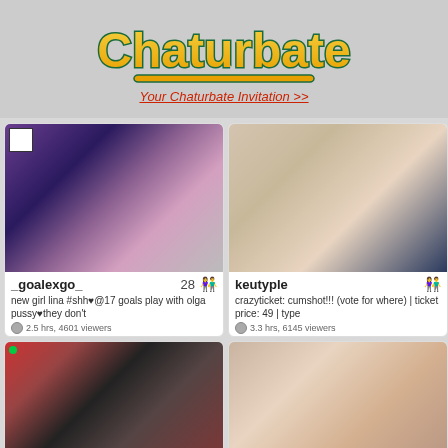[Figure (logo): Chaturbate logo with orange/yellow stylized text and teal/green outline, on gray background]
Your Chaturbate Invitation >>
[Figure (screenshot): Chaturbate live stream card for _goalexgo_ showing two women, age 28, 2.5 hrs 4601 viewers]
[Figure (screenshot): Chaturbate live stream card for keutyple showing explicit content, 3.3 hrs 6145 viewers]
[Figure (screenshot): Chaturbate live stream card for playwIthmiI showing young woman in black, viewer count]
[Figure (screenshot): Chaturbate live stream card for savetheboobees age 27, woman on bed, viewer count]